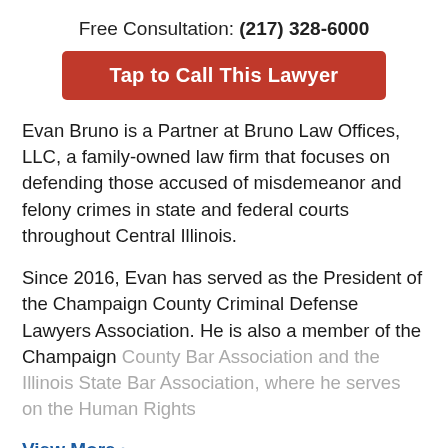Free Consultation: (217) 328-6000
Tap to Call This Lawyer
Evan Bruno is a Partner at Bruno Law Offices, LLC, a family-owned law firm that focuses on defending those accused of misdemeanor and felony crimes in state and federal courts throughout Central Illinois.
Since 2016, Evan has served as the President of the Champaign County Criminal Defense Lawyers Association. He is also a member of the Champaign County Bar Association and the Illinois State Bar Association, where he serves on the Human Rights
View More ›
Practice Areas